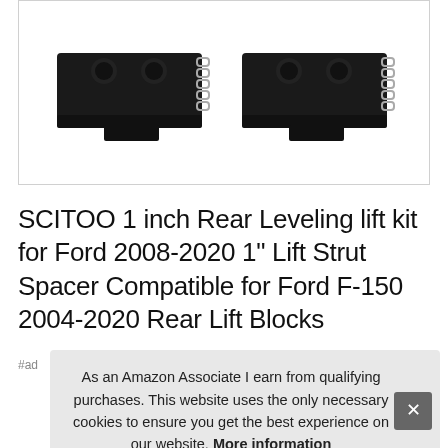[Figure (photo): Two black metal rear lift blocks/strut spacers side by side on white background, each with two circular knobs on top and chrome chain links on the side]
SCITOO 1 inch Rear Leveling lift kit for Ford 2008-2020 1" Lift Strut Spacer Compatible for Ford F-150 2004-2020 Rear Lift Blocks
#ad
As an Amazon Associate I earn from qualifying purchases. This website uses the only necessary cookies to ensure you get the best experience on our website. More information
[Figure (photo): Partial view of product photos showing black lift blocks at bottom of page]